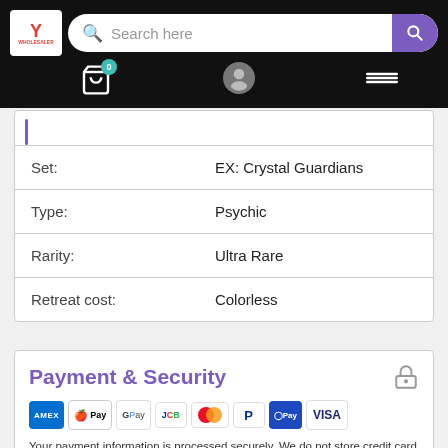Search here — navigation bar with cart (0), user, and menu icons
| Property | Value |
| --- | --- |
| Set: | EX: Crystal Guardians |
| Type: | Psychic |
| Rarity: | Ultra Rare |
| Retreat cost: | Colorless |
Payment & Security
[Figure (logo): Payment method icons: Amex, Apple Pay, Google Pay, JCB, Mastercard, PayPal, Samsung Pay, Visa]
Your payment information is processed securely. We do not store credit card details nor have access to your credit card information.